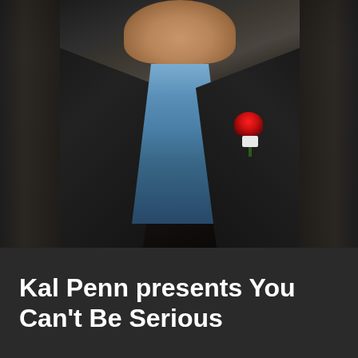[Figure (photo): A man from the chest up wearing a dark blazer/jacket over a blue floral patterned shirt with a red carnation boutonniere in the breast pocket. The background is very dark. Portions of other images are visible on the left and right edges.]
Kal Penn presents You Can't Be Serious